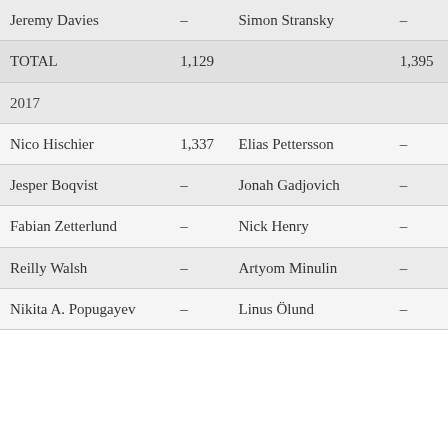| Jeremy Davies | – | Simon Stransky | – |
| TOTAL | 1,129 |  | 1,395 |
| 2017 |  |  |  |
| Nico Hischier | 1,337 | Elias Pettersson | – |
| Jesper Boqvist | – | Jonah Gadjovich | – |
| Fabian Zetterlund | – | Nick Henry | – |
| Reilly Walsh | – | Artyom Minulin | – |
| Nikita A. Popugayev | – | Linus Ölund | – |